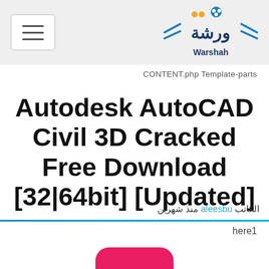[Figure (logo): Warshah website logo with Arabic text and the word Warshah in blue below]
CONTENT.php Template-parts
Autodesk AutoCAD Civil 3D Cracked Free Download [32|64bit] [Updated]
الكاتب aleesbu منذ شهرين
here1